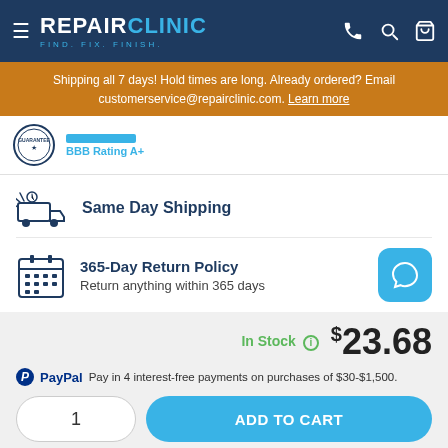REPAIR CLINIC - FIND. FIX. FINISH.
Shipping all 7 days! Hold times are long. Already ordered? Email customerservice@repairclinic.com. Learn more
BBB Rating A+
Same Day Shipping
365-Day Return Policy
Return anything within 365 days
In Stock  $23.68
PayPal  Pay in 4 interest-free payments on purchases of $30-$1,500.
1
ADD TO CART
Order today, this part ships tomorrow!